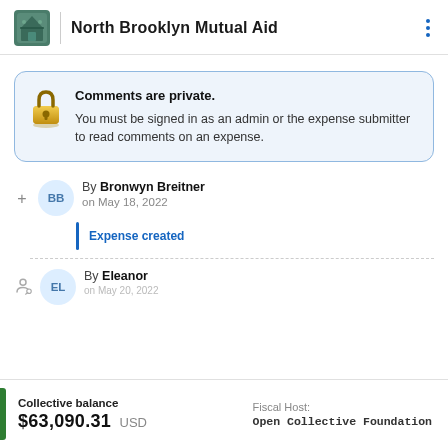North Brooklyn Mutual Aid
Comments are private. You must be signed in as an admin or the expense submitter to read comments on an expense.
By Bronwyn Breitner on May 18, 2022
Expense created
By Eleanor on May 20, 2022
Collective balance $63,090.31 USD  Fiscal Host: Open Collective Foundation